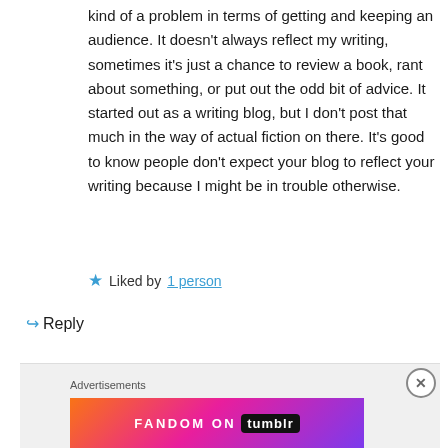kind of a problem in terms of getting and keeping an audience. It doesn't always reflect my writing, sometimes it's just a chance to review a book, rant about something, or put out the odd bit of advice. It started out as a writing blog, but I don't post that much in the way of actual fiction on there. It's good to know people don't expect your blog to reflect your writing because I might be in trouble otherwise.
★ Liked by 1 person
↳ Reply
Advertisements
[Figure (other): FANDOM ON tumblr advertisement banner with colorful gradient background]